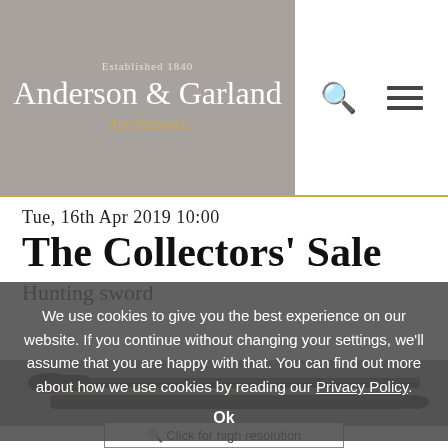Established 1840
Anderson & Garland
Auctioneers
Tue, 16th Apr 2019 10:00
The Collectors' Sale
Hunting sword
We use cookies to give you the best experience on our website. If you continue without changing your settings, we'll assume that you are happy with that. You can find out more about how we use cookies by reading our Privacy Policy.
Ok
[Figure (photo): A hunting sword / short sword shown against a grey background]
Click for high resolution